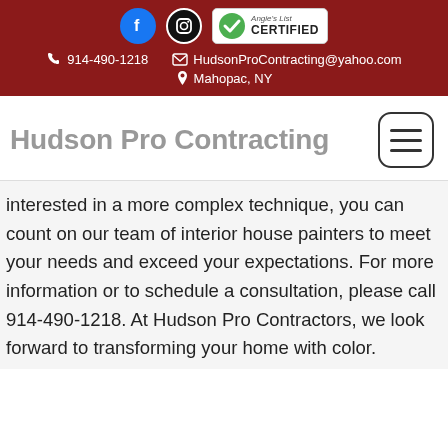914-490-1218 | HudsonProContracting@yahoo.com | Mahopac, NY
Hudson Pro Contracting
interested in a more complex technique, you can count on our team of interior house painters to meet your needs and exceed your expectations. For more information or to schedule a consultation, please call 914-490-1218. At Hudson Pro Contractors, we look forward to transforming your home with color.